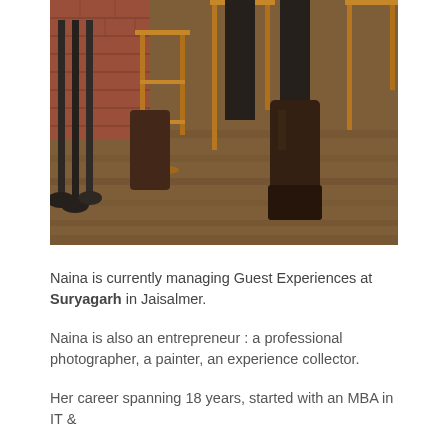[Figure (photo): Photograph showing the lower body of a person wearing dark riding boots and black trousers, seated on a wooden bar stool. The background features a brick wall, black iron railings/pipes, and a rustic wooden floor.]
Naina is currently managing Guest Experiences at Suryagarh in Jaisalmer.
Naina is also an entrepreneur : a professional photographer, a painter, an experience collector.
Her career spanning 18 years, started with an MBA in IT &